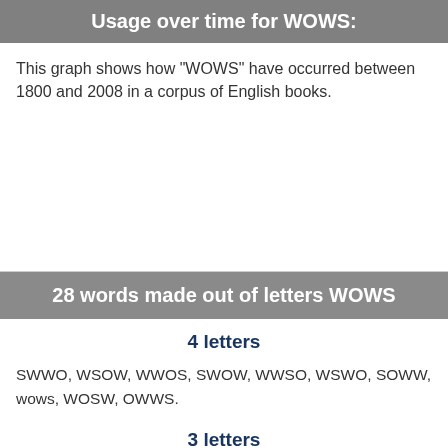Usage over time for WOWS:
This graph shows how "WOWS" have occurred between 1800 and 2008 in a corpus of English books.
28 words made out of letters WOWS
4 letters
SWWO, WSOW, WWOS, SWOW, WWSO, WSWO, SOWW, wows, WOSW, OWWS.
3 letters